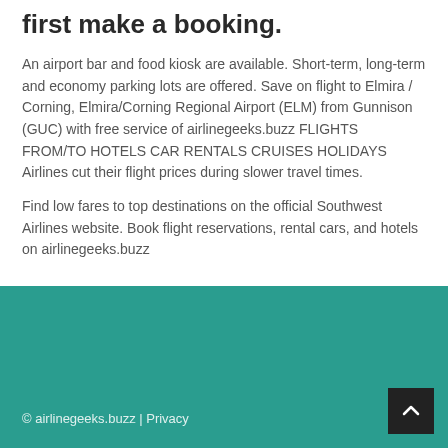first make a booking.
An airport bar and food kiosk are available. Short-term, long-term and economy parking lots are offered. Save on flight to Elmira / Corning, Elmira/Corning Regional Airport (ELM) from Gunnison (GUC) with free service of airlinegeeks.buzz FLIGHTS FROM/TO HOTELS CAR RENTALS CRUISES HOLIDAYS Airlines cut their flight prices during slower travel times.
Find low fares to top destinations on the official Southwest Airlines website. Book flight reservations, rental cars, and hotels on airlinegeeks.buzz
© airlinegeeks.buzz | Privacy